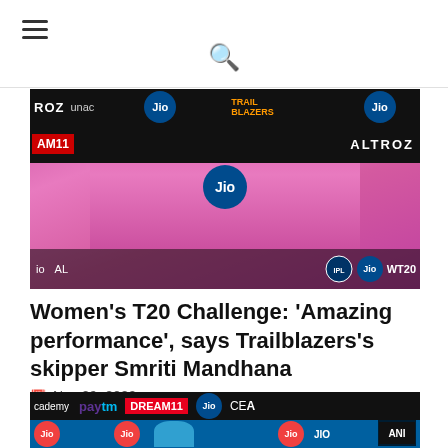☰ [hamburger menu] 🔍 [search]
[Figure (photo): Person wearing pink Trailblazers jersey at a press conference with Jio, ALTROZ, AM11, unacademy sponsor boards in background. Women's T20 Challenge branding visible.]
Women's T20 Challenge: 'Amazing performance', says Trailblazers's skipper Smriti Mandhana
Nov 09, 2020
[Figure (photo): Person wearing blue cap at a press conference with Paytm, Dream11, Jio, cademy, CEA sponsor boards in background. ANI logo visible.]